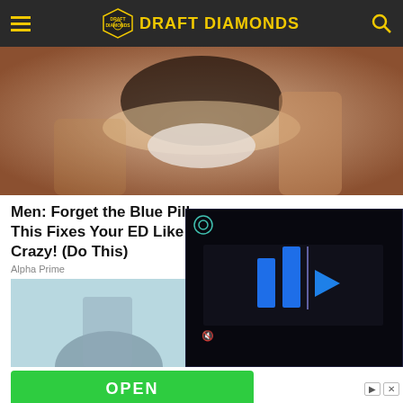Draft Diamonds
[Figure (photo): Close-up photo of a man with beard, shoulders raised, wearing white t-shirt]
Men: Forget the Blue Pill, This Fixes Your ED Like Crazy! (Do This)
Alpha Prime
[Figure (photo): Partial photo of a person against a light blue background]
[Figure (screenshot): Video player with dark background showing play controls and blue bar/play button icons]
OPEN
Book A Demo Today
Ad